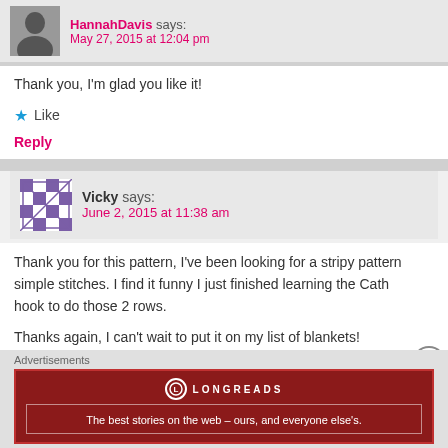HannahDavis says:
May 27, 2015 at 12:04 pm
Thank you, I'm glad you like it!
★ Like
Reply
Vicky says:
June 2, 2015 at 11:38 am
Thank you for this pattern, I've been looking for a stripy patt... simple stitches. I find it funny I just finished learning the Cath... hook to do those 2 rows.
Thanks again, I can't wait to put it on my list of blankets!
★ Like
Advertisements
[Figure (infographic): Longreads advertisement banner: dark red background with Longreads logo and tagline 'The best stories on the web — ours, and everyone else's.']